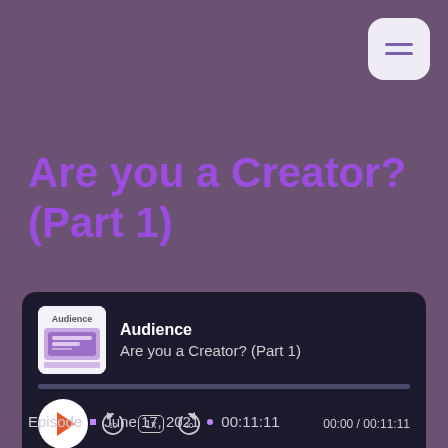Are you a Creator? (Part 1)
[Figure (screenshot): Podcast audio player widget for 'Audience' podcast, episode 'Are you a Creator? (Part 1)', showing play button, progress bar, playback controls (rewind 10s, 1x speed, forward 30s), time 00:00 / 00:11:11, castos branding, SUBSCRIBE and SHARE buttons]
Episode • June 17, 2021 • 00:11:11